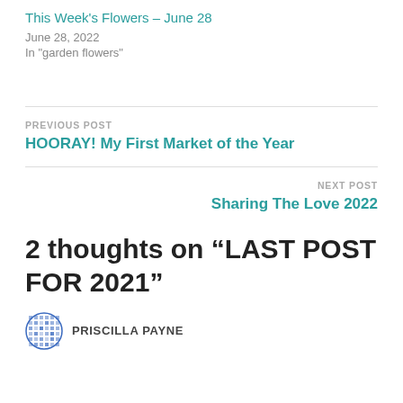This Week's Flowers – June 28
June 28, 2022
In "garden flowers"
PREVIOUS POST
HOORAY! My First Market of the Year
NEXT POST
Sharing The Love 2022
2 thoughts on “LAST POST FOR 2021”
PRISCILLA PAYNE